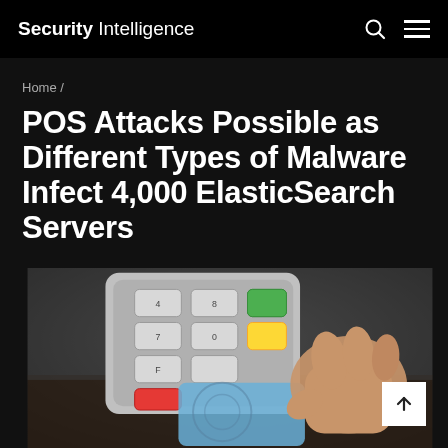Security Intelligence
Home /
POS Attacks Possible as Different Types of Malware Infect 4,000 ElasticSearch Servers
[Figure (photo): A hand inserting a credit card into a POS (point-of-sale) terminal with colorful keypad buttons (red, yellow, green) visible.]